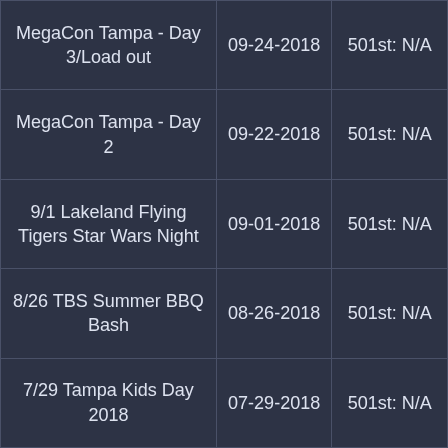| MegaCon Tampa - Day 3/Load out | 09-24-2018 | 501st: N/A |
| MegaCon Tampa - Day 2 | 09-22-2018 | 501st: N/A |
| 9/1 Lakeland Flying Tigers Star Wars Night | 09-01-2018 | 501st: N/A |
| 8/26 TBS Summer BBQ Bash | 08-26-2018 | 501st: N/A |
| 7/29 Tampa Kids Day 2018 | 07-29-2018 | 501st: N/A |